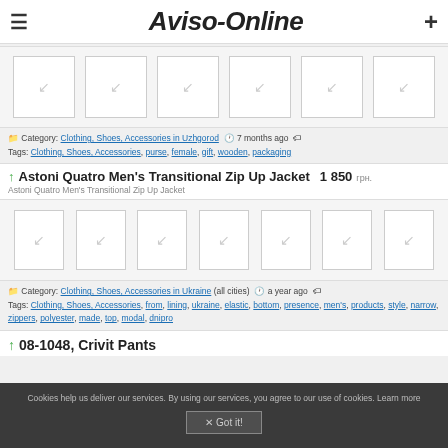Aviso-Online
[Figure (photo): Image strip with loading placeholders for product listing]
Category: Clothing, Shoes, Accessories in Uzhgorod  7 months ago  Tags: Clothing, Shoes, Accessories, purse, female, gift, wooden, packaging
Astoni Quatro Men's Transitional Zip Up Jacket  1 850 грн.
Astoni Quatro Men's Transitional Zip Up Jacket
[Figure (photo): Image strip with loading placeholders for jacket listing]
Category: Clothing, Shoes, Accessories in Ukraine (all cities)  a year ago  Tags: Clothing, Shoes, Accessories, from, lining, ukraine, elastic, bottom, presence, men's, products, style, narrow, zippers, polyester, made, top, modal, dnipro
08-1048, Crivit Pants
Cookies help us deliver our services. By using our services, you agree to our use of cookies. Learn more
✕ Got it!